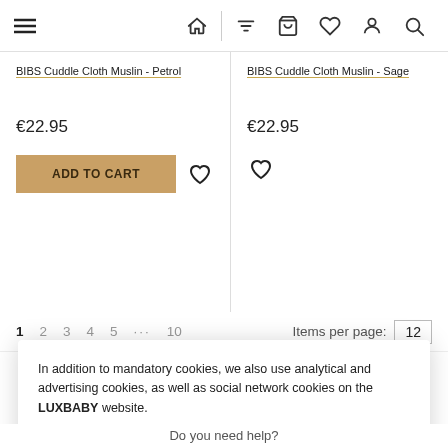[Figure (screenshot): Navigation bar with hamburger menu on left and icons (home, filter, basket, heart, person, search) on right]
BIBS Cuddle Cloth Muslin - Petrol
€22.95
ADD TO CART
BIBS Cuddle Cloth Muslin - Sage
€22.95
1  2  3  4  5  ...  10   Items per page: 12
In addition to mandatory cookies, we also use analytical and advertising cookies, as well as social network cookies on the LUXBABY website.

If you agree with this, please click on the I ACCEPT button. For a detailed description and in order to set the use of individual cookies, click on the COOKIE SETTINGS link.
I ACCEPT
Cookie Settings
Do you need help?